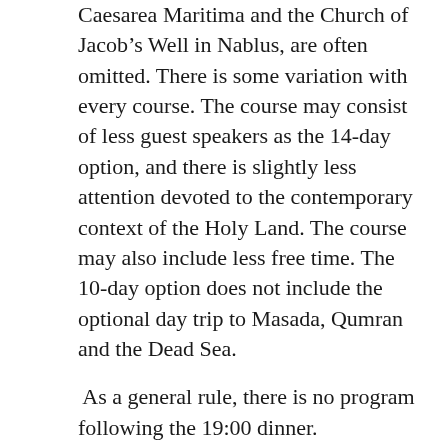Caesarea Maritima and the Church of Jacob's Well in Nablus, are often omitted. There is some variation with every course. The course may consist of less guest speakers as the 14-day option, and there is slightly less attention devoted to the contemporary context of the Holy Land. The course may also include less free time. The 10-day option does not include the optional day trip to Masada, Qumran and the Dead Sea.
As a general rule, there is no program following the 19:00 dinner. For a sample of a 10-day itinerary, please click here